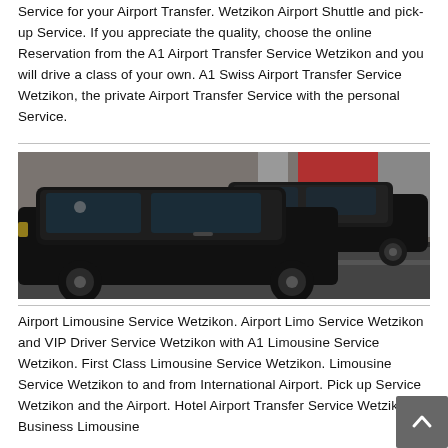Service for your Airport Transfer. Wetzikon Airport Shuttle and pick-up Service. If you appreciate the quality, choose the online Reservation from the A1 Airport Transfer Service Wetzikon and you will drive a class of your own. A1 Swiss Airport Transfer Service Wetzikon, the private Airport Transfer Service with the personal Service.
[Figure (photo): Two black luxury sedan cars parked in front of a building with red and grey facade, viewed from the side.]
Airport Limousine Service Wetzikon. Airport Limo Service Wetzikon and VIP Driver Service Wetzikon with A1 Limousine Service Wetzikon. First Class Limousine Service Wetzikon. Limousine Service Wetzikon to and from International Airport. Pick up Service Wetzikon and the Airport. Hotel Airport Transfer Service Wetzikon. Business Limousine